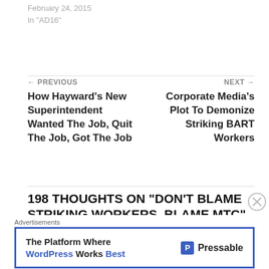February 24, 2015
In "AD16"
← PREVIOUS
How Hayward's New Superintendent Wanted The Job, Quit The Job, Got The Job
NEXT →
Corporate Media's Plot To Demonize Striking BART Workers
198 THOUGHTS ON "DON'T BLAME STRIKING WORKERS, BLAME MTC"
[Figure (other): Advertisement banner for Pressable: 'The Platform Where WordPress Works Best' with Pressable logo]